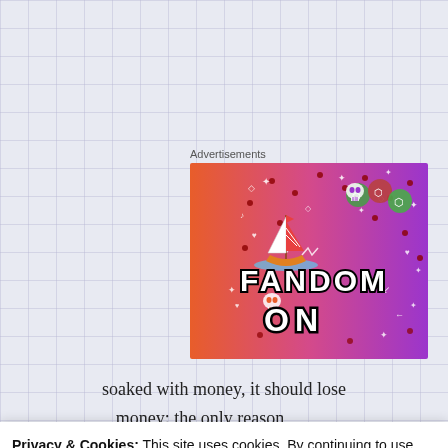Advertisements
[Figure (illustration): Fandom On advertisement banner with colorful orange-to-purple gradient background, featuring a cartoon sailboat, skull icons, dice, doodles, and bold text reading FANDOM ON]
soaked with money, it should lose
money: the only reason
Privacy & Cookies: This site uses cookies. By continuing to use this website, you agree to their use.
To find out more, including how to control cookies, see here:
Cookie Policy
Close and accept
than a big building and a flag,